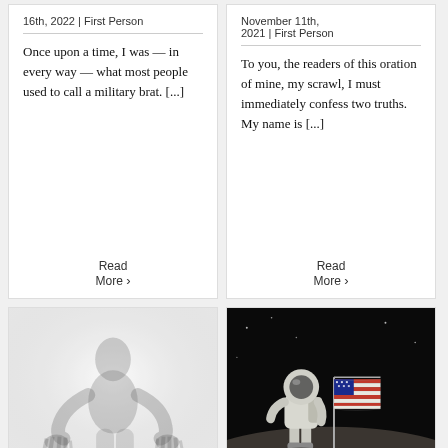16th, 2022 | First Person
Once upon a time, I was — in every way — what most people used to call a military brat. [...]
Read More ›
November 11th, 2021 | First Person
To you, the readers of this oration of mine, my scrawl, I must immediately confess two truths. My name is [...]
Read More ›
[Figure (photo): Blurry silhouette of a person with hands pressed outward against a frosted or foggy surface, black and white]
[Figure (photo): Astronaut in white spacesuit standing on the moon surface next to an American flag planted in the ground, dark space background]